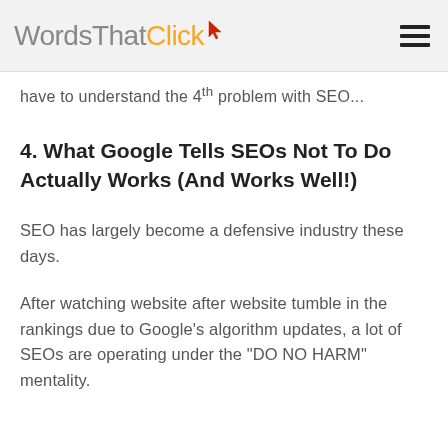WordsThatClick
have to understand the 4th problem with SEO...
4. What Google Tells SEOs Not To Do Actually Works (And Works Well!)
SEO has largely become a defensive industry these days.
After watching website after website tumble in the rankings due to Google’s algorithm updates, a lot of SEOs are operating under the “DO NO HARM” mentality.